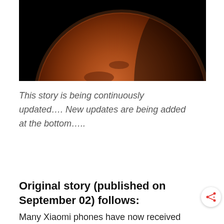[Figure (photo): A photo of Mars (or a Mars-like planet) against a black background, showing a partial view of the reddish-brown planet]
This story is being continuously updated…. New updates are being added at the bottom…..
Original story (published on September 02) follows:
Many Xiaomi phones have now received the MIUI 12 update which offers a bunch of improvements. The